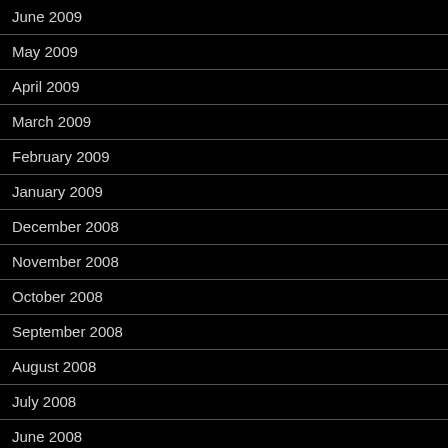June 2009
May 2009
April 2009
March 2009
February 2009
January 2009
December 2008
November 2008
October 2008
September 2008
August 2008
July 2008
June 2008